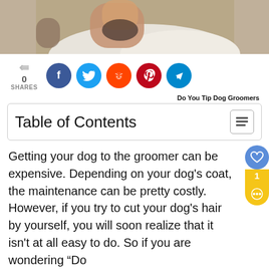[Figure (photo): Person grooming a dog with clippers, fur flying, dark background]
0 SHARES
[Figure (infographic): Social sharing buttons: Facebook, Twitter, Reddit, Pinterest, Telegram]
Do You Tip Dog Groomers
Table of Contents
Getting your dog to the groomer can be expensive. Depending on your dog's coat, the maintenance can be pretty costly. However, if you try to cut your dog's hair by yourself, you will soon realize that it isn't at all easy to do. So if you are wondering "Do